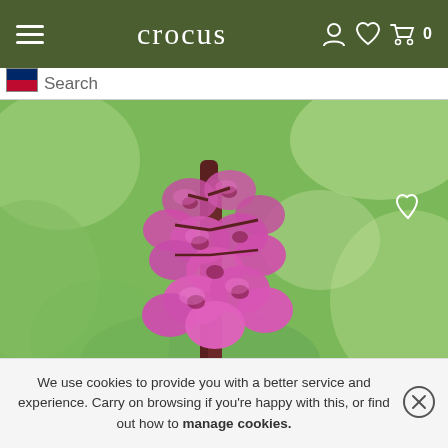crocus
Search
[Figure (photo): Close-up photograph of a cluster of bright magenta/pink bergenia flowers in bloom on a reddish-brown stem, with soft green bokeh background]
We use cookies to provide you with a better service and experience. Carry on browsing if you're happy with this, or find out how to manage cookies.